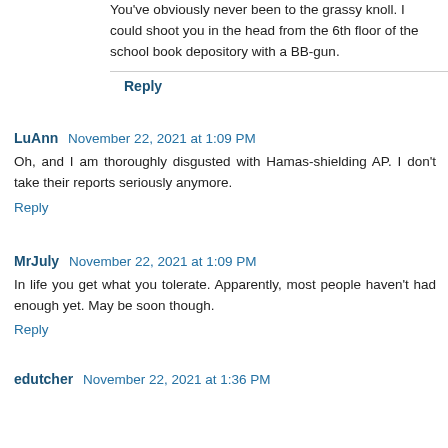You've obviously never been to the grassy knoll. I could shoot you in the head from the 6th floor of the school book depository with a BB-gun.
Reply
LuAnn  November 22, 2021 at 1:09 PM
Oh, and I am thoroughly disgusted with Hamas-shielding AP. I don't take their reports seriously anymore.
Reply
MrJuly  November 22, 2021 at 1:09 PM
In life you get what you tolerate. Apparently, most people haven't had enough yet. May be soon though.
Reply
edutcher  November 22, 2021 at 1:36 PM